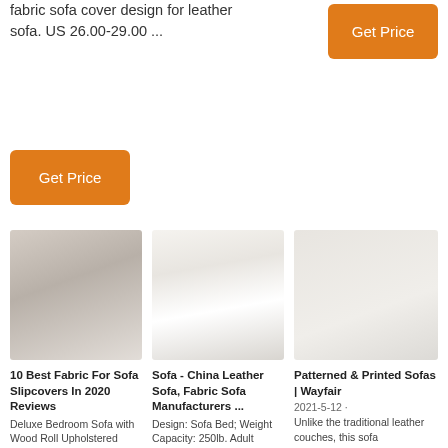fabric sofa cover design for leather sofa. US 26.00-29.00 ...
[Figure (other): Orange 'Get Price' button in upper right]
[Figure (other): Orange 'Get Price' button below text]
[Figure (photo): Photo of fabric/sofa material - light grey/beige texture]
[Figure (photo): Photo of white ceramic or sofa arm detail]
[Figure (photo): Photo of light beige/cream sofa fabric]
10 Best Fabric For Sofa Slipcovers In 2020 Reviews
Deluxe Bedroom Sofa with Wood Roll Upholstered
Sofa - China Leather Sofa, Fabric Sofa Manufacturers ...
Design: Sofa Bed; Weight Capacity: 250lb. Adult
Patterned & Printed Sofas | Wayfair
2021-5-12 ·
Unlike the traditional leather couches, this sofa